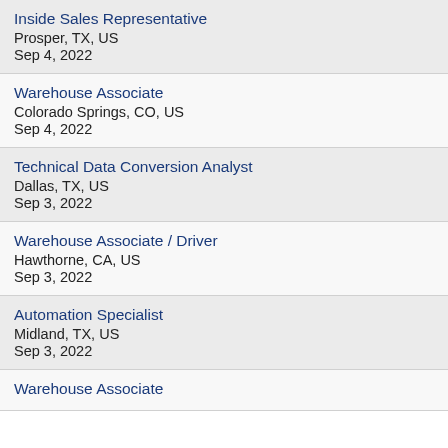Inside Sales Representative
Prosper, TX, US
Sep 4, 2022
Warehouse Associate
Colorado Springs, CO, US
Sep 4, 2022
Technical Data Conversion Analyst
Dallas, TX, US
Sep 3, 2022
Warehouse Associate / Driver
Hawthorne, CA, US
Sep 3, 2022
Automation Specialist
Midland, TX, US
Sep 3, 2022
Warehouse Associate